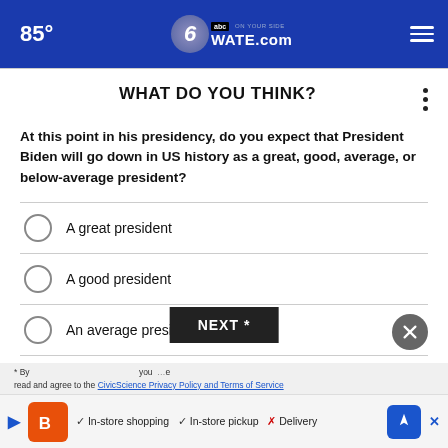85° WATE.com
WHAT DO YOU THINK?
At this point in his presidency, do you expect that President Biden will go down in US history as a great, good, average, or below-average president?
A great president
A good president
An average president
A below-average president
Other / No opinion
NEXT *
* By clicking NEXT you confirm that you have read and agree to the CivicScience Privacy Policy and Terms of Service